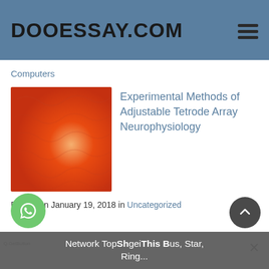DOOESSAY.COM
Computers
[Figure (photo): Red/orange textured background image used as article thumbnail]
Experimental Methods of Adjustable Tetrode Array Neurophysiology
Posted on January 19, 2018 in Uncategorized
Network TopShgeiThis Bus, Star, Ring...